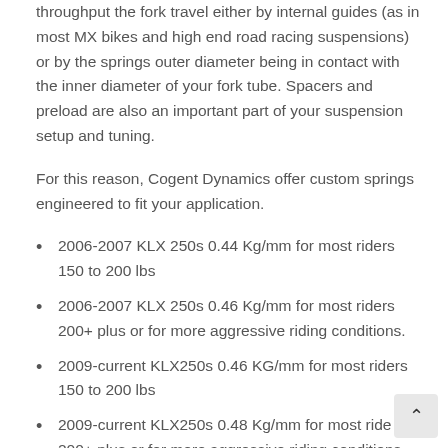throughput the fork travel either by internal guides (as in most MX bikes and high end road racing suspensions) or by the springs outer diameter being in contact with the inner diameter of your fork tube. Spacers and preload are also an important part of your suspension setup and tuning.
For this reason, Cogent Dynamics offer custom springs engineered to fit your application.
2006-2007 KLX 250s 0.44 Kg/mm for most riders 150 to 200 lbs
2006-2007 KLX 250s 0.46 Kg/mm for most riders 200+ plus or for more aggressive riding conditions.
2009-current KLX250s 0.46 KG/mm for most riders 150 to 200 lbs
2009-current KLX250s 0.48 Kg/mm for most riders 200+ plus or for more aggressive riding conditions.